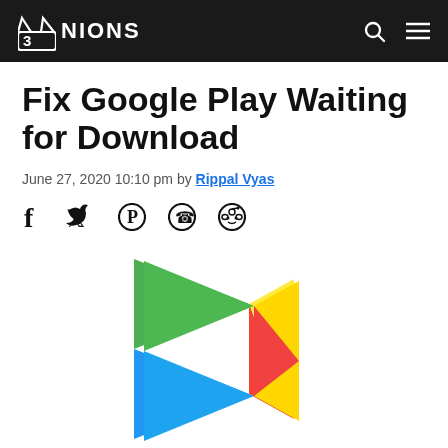3NIONS
Fix Google Play Waiting for Download
June 27, 2020 10:10 pm by Rippal Vyas
[Figure (illustration): Social sharing icons: Facebook, Twitter, Pinterest, WhatsApp, Reddit]
[Figure (logo): Google Play Store logo - colorful triangle play button]